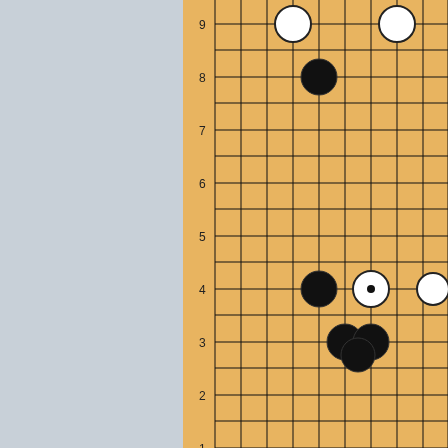[Figure (other): Go board game position showing partial board (rows 1-9, columns partially visible). Black and white stones placed on intersections. Board has orange/tan color with black grid lines. Numbers 1-9 visible on left side.]
Click Here To Show Diagram Code
Show
Top
profile
rlaalswo
Post subject: Re: #267 rlaalswo v. fevobod152
Dies with sente
Posts: 106
Liked others: 11
[Figure (other): Bottom of second Go board showing column labels A B C D E F G H J K]